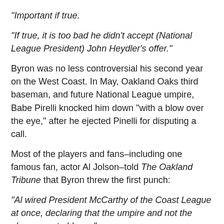“Important if true.
“If true, it is too bad he didn’t accept (National League President) John Heydler’s offer.”
Byron was no less controversial his second year on the West Coast. In May, Oakland Oaks third baseman, and future National League umpire, Babe Pirelli knocked him down “with a blow over the eye,” after he ejected Pinelli for disputing a call.
Most of the players and fans–including one famous fan, actor Al Jolson–told The Oakland Tribune that Byron threw the first punch:
“Al wired President McCarthy of the Coast League at once, declaring that the umpire and not the player was to blame.”